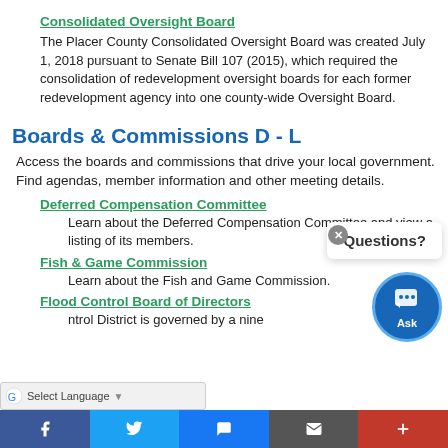Consolidated Oversight Board
The Placer County Consolidated Oversight Board was created July 1, 2018 pursuant to Senate Bill 107 (2015), which required the consolidation of redevelopment oversight boards for each former redevelopment agency into one county-wide Oversight Board.
Boards & Commissions D - L
Access the boards and commissions that drive your local government. Find agendas, member information and other meeting details.
Deferred Compensation Committee
Learn about the Deferred Compensation Committee and view a listing of its members.
Fish & Game Commission
Learn about the Fish and Game Commission.
Flood Control Board of Directors
ntrol District is governed by a nine